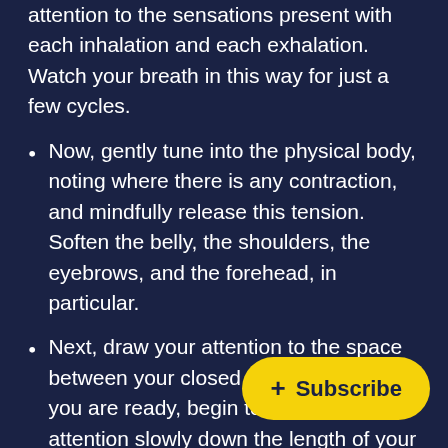attention to the sensations present with each inhalation and each exhalation. Watch your breath in this way for just a few cycles.
Now, gently tune into the physical body, noting where there is any contraction, and mindfully release this tension. Soften the belly, the shoulders, the eyebrows, and the forehead, in particular.
Next, draw your attention to the space between your closed eyes. And when you are ready, begin to draw your attention slowly down the length of your nose. Then through your mouth and throat, until you land in the center of your chest. Hold your attention here as you breathe into and out of the heart spa…
Anytime the mind wanders, pulling your